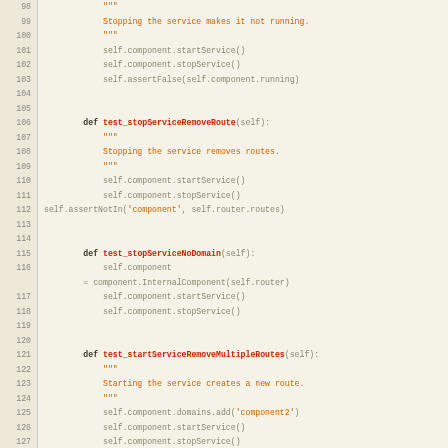[Figure (screenshot): Python source code snippet showing unit test methods for service start/stop operations, lines 98-128, with line numbers on the left and syntax-highlighted code on the right.]